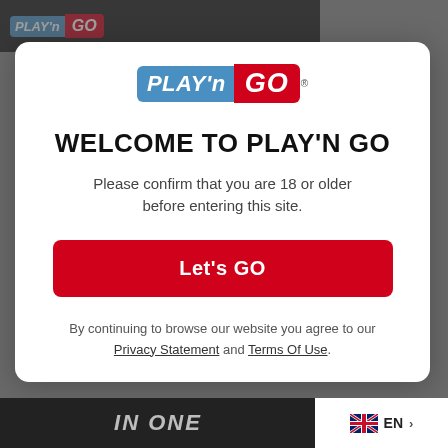[Figure (logo): Play'n GO logo in modal center]
WELCOME TO PLAY'N GO
Please confirm that you are 18 or older before entering this site.
Let's GO
By continuing to browse our website you agree to our Privacy Statement and Terms Of Use.
EN